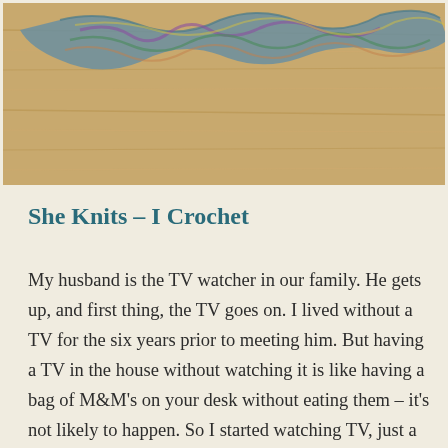[Figure (photo): A colorful crocheted or knitted scarf/item laid on a wooden floor, photographed from above. The yarn is multicolored with blue, purple, green, and other colors.]
She Knits – I Crochet
My husband is the TV watcher in our family. He gets up, and first thing, the TV goes on. I lived without a TV for the six years prior to meeting him. But having a TV in the house without watching it is like having a bag of M&M's on your desk without eating them – it's not likely to happen. So I started watching TV, just a little at first. After seven years of marriage, it became something I wasn't thinking about anymore. Until I got together with a few of my very smart girlfriends a few times and started to notice that we never had a